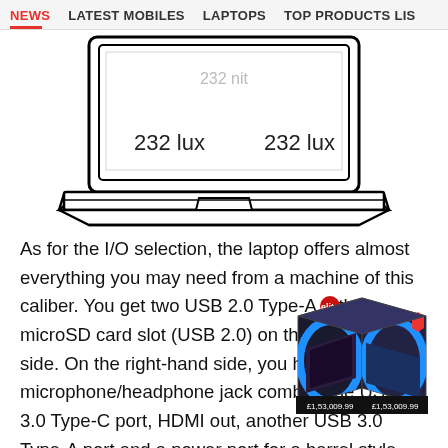NEWS  LATEST MOBILES  LAPTOPS  TOP PRODUCTS LIS
[Figure (illustration): Line drawing of a laptop showing brightness measurement points. Screen shows '232 lux' on left side and '232 lux' on right side. There is also faint text at top of screen area showing '232 nit'.]
As for the I/O selection, the laptop offers almost everything you may need from a machine of this caliber. You get two USB 2.0 Type-A with a microSD card slot (USB 2.0) on the left-hand side. On the right-hand side, you have a microphone/headphone jack combo, one USB 3.0 Type-C port, HDMI out, another USB 3.0 Type-A port and a power port for a barrel style pin. Going
[Figure (photo): 3D box/cube product advertisement showing a laptop product box with blue arc design and prices shown as £1,53,009.99 on visible faces.]